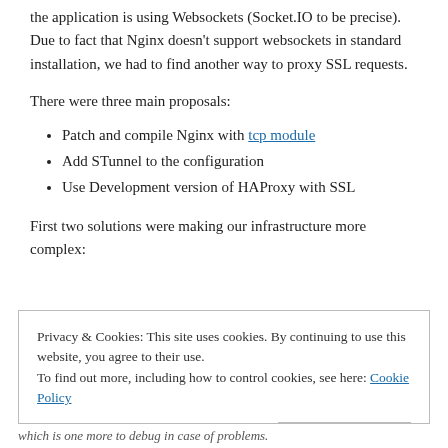the application is using Websockets (Socket.IO to be precise). Due to fact that Nginx doesn't support websockets in standard installation, we had to find another way to proxy SSL requests.
There were three main proposals:
Patch and compile Nginx with tcp module
Add STunnel to the configuration
Use Development version of HAProxy with SSL
First two solutions were making our infrastructure more complex:
Privacy & Cookies: This site uses cookies. By continuing to use this website, you agree to their use.
To find out more, including how to control cookies, see here: Cookie Policy
which is one more to debug in case of problems.